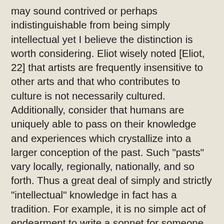may sound contrived or perhaps indistinguishable from being simply intellectual yet I believe the distinction is worth considering. Eliot wisely noted [Eliot, 22] that artists are frequently insensitive to other arts and that who contributes to culture is not necessarily cultured. Additionally, consider that humans are uniquely able to pass on their knowledge and experiences which crystallize into a larger conception of the past. Such "pasts" vary locally, regionally, nationally, and so forth. Thus a great deal of simply and strictly "intellectual" knowledge in fact has a tradition. For example, it is no simple act of endearment to write a sonnet for someone since a sonnet has a long and rich history. Names too have cultural histories, and even the most culturally insensitive person chooses the name of his child with care. (The invention of "new" names here is significant, I think.) This sense of cultural thinking is closely related to the importance of storytelling in a culture. [6] Words too, and many of them, have particularly interesting and significant histories, and though it sounds trivial to say it, to use a particular one means something. Using our definitions of culture and vulgarity, imagine a "vulgar" sentence: you wouldn't know what any of the words meant. It would be a different